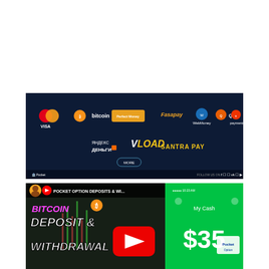[Figure (screenshot): Payment methods banner on dark navy background showing logos: Visa, Bitcoin, Perfect Money, Fasapay, WebMoney, Qiwi, ePayments, Yandex Dengi, VLoad, Santra Pay, with a More button and Pocket Option footer with social media icons]
[Figure (screenshot): YouTube video thumbnail for 'POCKET OPTION DEPOSITS & WI...' showing Bitcoin deposit and withdrawal graphic with purple/white bold text, YouTube play button overlay, and Cash App My Cash panel showing $35 on green background with Pocket Option logo]